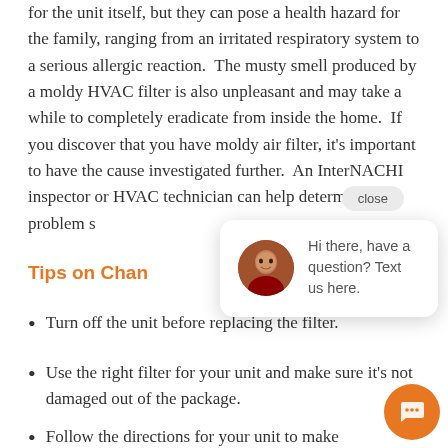for the unit itself, but they can pose a health hazard for the family, ranging from an irritated respiratory system to a serious allergic reaction. The musty smell produced by a moldy HVAC filter is also unpleasant and may take a while to completely eradicate from inside the home. If you discover that you have moldy air filter, it's important to have the cause investigated further. An InterNACHI inspector or HVAC technician can help determine the problem so
Tips on Chan…
Turn off the unit before replacing the filter.
Use the right filter for your unit and make sure it's not damaged out of the package.
Follow the directions for your unit to make